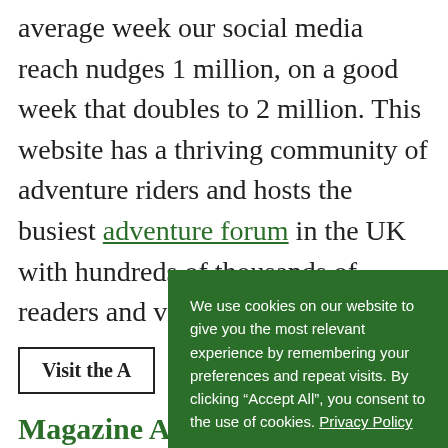average week our social media reach nudges 1 million, on a good week that doubles to 2 million. This website has a thriving community of adventure riders and hosts the busiest adventure forum in the UK with hundreds of thousands of readers and visitors from
Visit the A
We use cookies on our website to give you the most relevant experience by remembering your preferences and repeat visits. By clicking “Accept All”, you consent to the use of cookies. Privacy Policy
Accept All
Magazine Ar
44Teeth Videos